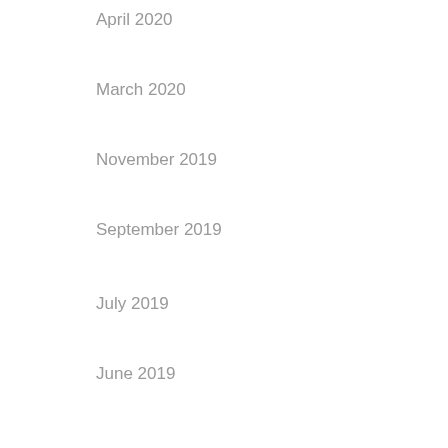April 2020
March 2020
November 2019
September 2019
July 2019
June 2019
May 2018
Categories
10
1sportbetin.com
1xbet-sport1.com
1xbetsportonline.com#en-in#
Actualizar Archivos Dll
adult sex sites